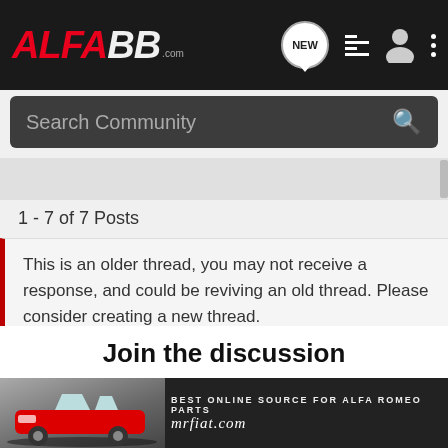ALFA BB .com — navigation header with search bar
1 - 7 of 7 Posts
This is an older thread, you may not receive a response, and could be reviving an old thread. Please consider creating a new thread.
Join the discussion
Continue with Facebook
Continue with Google
[Figure (screenshot): Bottom banner advertisement: red Alfa Romeo car with text BEST ONLINE SOURCE FOR ALFA ROMEO PARTS and mrfiat.com]
BEST ONLINE SOURCE FOR ALFA ROMEO PARTS mrfiat.com